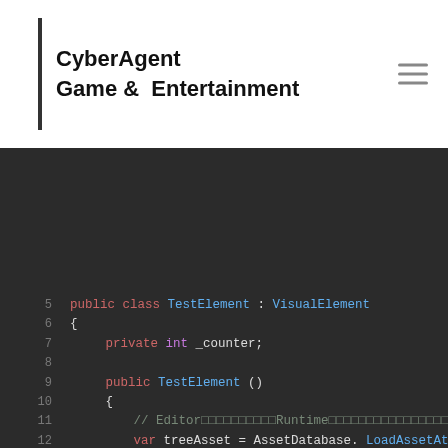CyberAgent Game & Entertainment
[Figure (screenshot): Code editor screenshot showing C# code for a TestElement class inheriting VisualElement, with lines 5-24 visible. Syntax highlighting with dark background.]